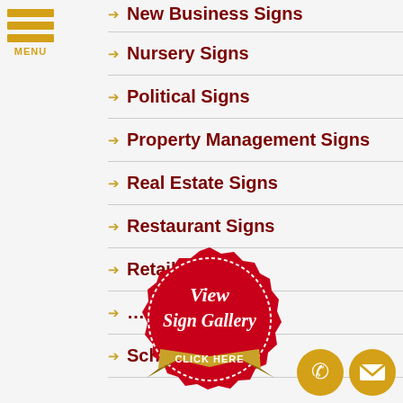New Business Signs
Nursery Signs
Political Signs
Property Management Signs
Real Estate Signs
Restaurant Signs
Retail Signs
Sign on Signs
School Signs
[Figure (illustration): Red seal badge with 'View Sign Gallery CLICK HERE' text and gold ribbon banner]
[Figure (illustration): Gold phone icon circle button]
[Figure (illustration): Gold email/envelope icon circle button]